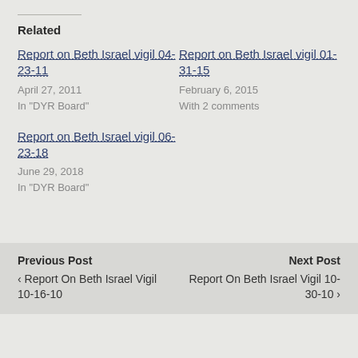Related
Report on Beth Israel vigil 04-23-11
April 27, 2011
In "DYR Board"
Report on Beth Israel vigil 01-31-15
February 6, 2015
With 2 comments
Report on Beth Israel vigil 06-23-18
June 29, 2018
In "DYR Board"
Previous Post
‹ Report On Beth Israel Vigil 10-16-10

Next Post
Report On Beth Israel Vigil 10-30-10 ›